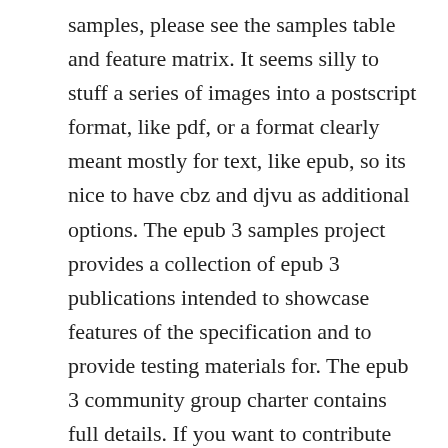samples, please see the samples table and feature matrix. It seems silly to stuff a series of images into a postscript format, like pdf, or a format clearly meant mostly for text, like epub, so its nice to have cbz and djvu as additional options. The epub 3 samples project provides a collection of epub 3 publications intended to showcase features of the specification and to provide testing materials for. The epub 3 community group charter contains full details. If you want to contribute samples, please contact the project